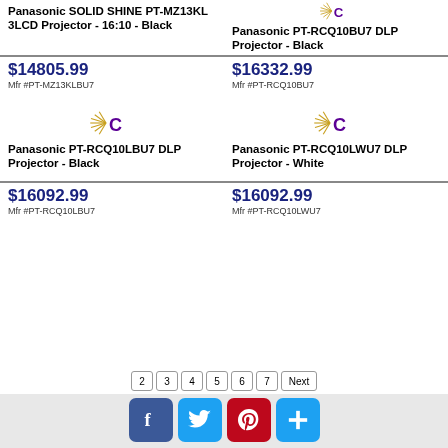[Figure (logo): Comet logo (gold starburst + purple C) top right]
Panasonic SOLID SHINE PT-MZ13KL 3LCD Projector - 16:10 - Black
Panasonic PT-RCQ10BU7 DLP Projector - Black
$14805.99
Mfr #PT-MZ13KLBU7
$16332.99
Mfr #PT-RCQ10BU7
[Figure (logo): Comet logo left column row 2]
[Figure (logo): Comet logo right column row 2]
Panasonic PT-RCQ10LBU7 DLP Projector - Black
Panasonic PT-RCQ10LWU7 DLP Projector - White
$16092.99
Mfr #PT-RCQ10LBU7
$16092.99
Mfr #PT-RCQ10LWU7
2
3
4
5
6
7
Next